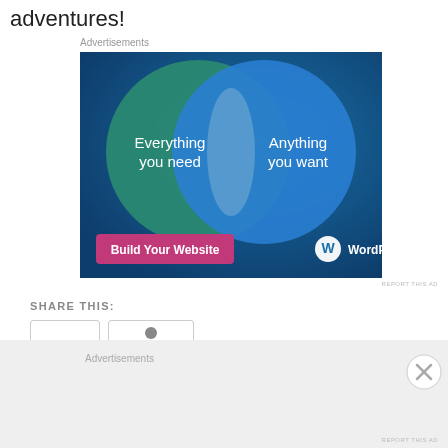adventures!
Advertisements
[Figure (illustration): WordPress.com advertisement showing two overlapping circles (Venn diagram) on a dark blue background. Left circle (teal/green) labeled 'Everything you need', right circle (blue) labeled 'Anything you want'. Pink button at bottom left reads 'Build Your Website'. WordPress.com logo at bottom right.]
REPORT THIS AD
SHARE THIS:
Advertisements
REPORT THIS AD